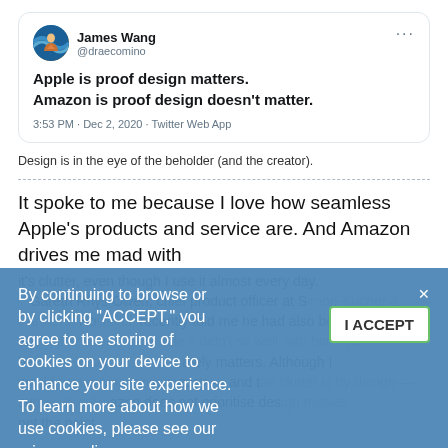[Figure (screenshot): Screenshot of a tweet by James Wang (@draecomino) reading: 'Apple is proof design matters. Amazon is proof design doesn't matter.' Posted at 3:53 PM · Dec 2, 2020 · Twitter Web App]
Design is in the eye of the beholder (and the creator).
It spoke to me because I love how seamless Apple's products and service are. And Amazon drives me mad with its clutter, even though I use it almost every day. Gareth Rhys Owen, chief product officer at Simon-Kucher & Partners, recently told me he had also been thinking about that tweet, and while it didn't sit well with him. It's because design ultimately matters. Although I would argue Amazon is messy — and the clutter is by design — suggesting Amazon does not prioritise design misses not the point.
[Figure (screenshot): Cookie consent overlay: 'By continuing to browse or by clicking "ACCEPT," you agree to the storing of cookies on your device to enhance your site experience. To learn more about how we use cookies, please see our privacy policy.' with an I ACCEPT button and X close button.]